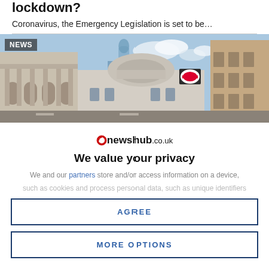lockdown?
Coronavirus, the Emergency Legislation is set to be…
[Figure (photo): Photo of London city street with classical architecture, The Gherkin skyscraper in background, London Underground roundel sign visible, labelled NEWS]
[Figure (logo): newshub.co.uk logo with red circle icon]
We value your privacy
We and our partners store and/or access information on a device, such as cookies and process personal data, such as unique identifiers
AGREE
MORE OPTIONS